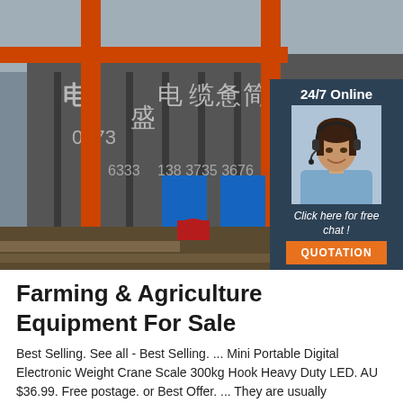[Figure (photo): Industrial/warehouse building facade with orange gantry crane structure, Chinese characters and phone numbers on the building exterior. Outdoor industrial yard scene.]
[Figure (photo): 24/7 Online chat overlay panel with dark blue background. Shows a smiling woman with headset, text 'Click here for free chat!' and an orange QUOTATION button.]
Farming & Agriculture Equipment For Sale
Best Selling. See all - Best Selling. ... Mini Portable Digital Electronic Weight Crane Scale 300kg Hook Heavy Duty LED. AU $36.99. Free postage. or Best Offer. ... They are usually